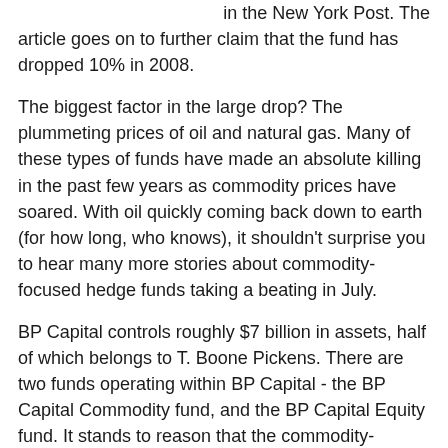according to a recent report in the New York Post. The article goes on to further claim that the fund has dropped 10% in 2008.
The biggest factor in the large drop? The plummeting prices of oil and natural gas. Many of these types of funds have made an absolute killing in the past few years as commodity prices have soared. With oil quickly coming back down to earth (for how long, who knows), it shouldn't surprise you to hear many more stories about commodity-focused hedge funds taking a beating in July.
BP Capital controls roughly $7 billion in assets, half of which belongs to T. Boone Pickens. There are two funds operating within BP Capital - the BP Capital Commodity fund, and the BP Capital Equity fund. It stands to reason that the commodity-focused fund would take a drubbing with commodities quickly dropping in price.